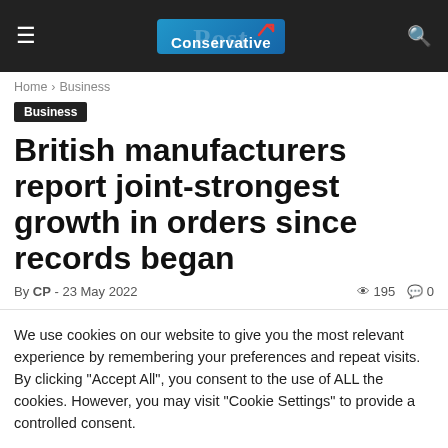Conservative Post
Home › Business
Business
British manufacturers report joint-strongest growth in orders since records began
By CP - 23 May 2022  195  0
We use cookies on our website to give you the most relevant experience by remembering your preferences and repeat visits. By clicking "Accept All", you consent to the use of ALL the cookies. However, you may visit "Cookie Settings" to provide a controlled consent.